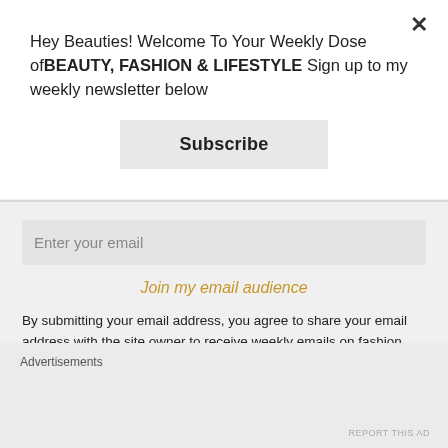Hey Beauties! Welcome To Your Weekly Dose ofBEAUTY, FASHION & LIFESTYLE Sign up to my weekly newsletter below
Subscribe
Enter your email
Join my email audience
By submitting your email address, you agree to share your email address with the site owner to receive weekly emails on fashion, beauty & lifestyle content that Sheena D shares. Use the unsubscribe link in those emails to opt out at any time.
Advertisements